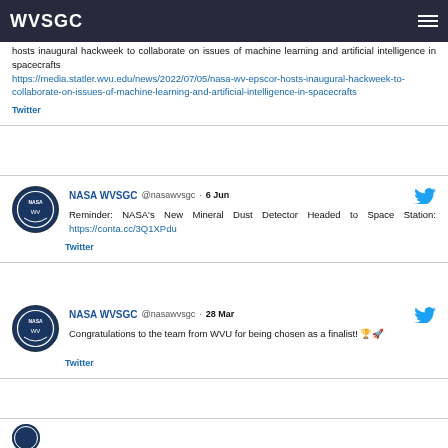WVSGC
...hosts inaugural hackweek to collaborate on issues of machine learning and artificial intelligence in spacecrafts https://media.statler.wvu.edu/news/2022/07/05/nasa-wv-epscor-hosts-inaugural-hackweek-to-collaborate-on-issues-of-machine-learning-and-artificial-intelligence-in-spacecrafts
Twitter
NASA WVSGC @nasawvsgc · 6 Jun
Reminder: NASA's New Mineral Dust Detector Headed to Space Station: https://conta.cc/3Q1XPdu
Twitter
NASA WVSGC @nasawvsgc · 28 Mar
Congratulations to the team from WVU for being chosen as a finalist! 🏆🚀
Twitter